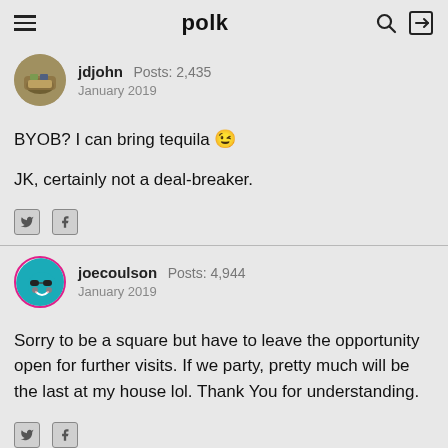polk
jdjohn  Posts: 2,435  January 2019
BYOB? I can bring tequila 😉

JK, certainly not a deal-breaker.
joecoulson  Posts: 4,944  January 2019
Sorry to be a square but have to leave the opportunity open for further visits. If we party, pretty much will be the last at my house lol. Thank You for understanding.